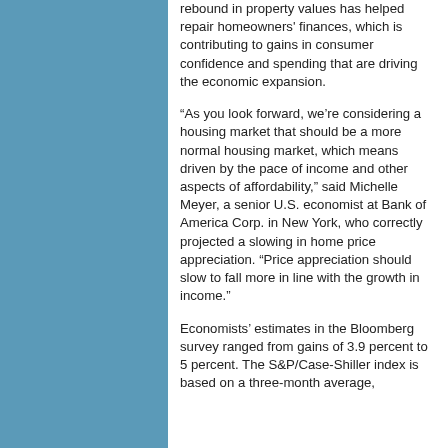rebound in property values has helped repair homeowners' finances, which is contributing to gains in consumer confidence and spending that are driving the economic expansion.
“As you look forward, we’re considering a housing market that should be a more normal housing market, which means driven by the pace of income and other aspects of affordability,” said Michelle Meyer, a senior U.S. economist at Bank of America Corp. in New York, who correctly projected a slowing in home price appreciation. “Price appreciation should slow to fall more in line with the growth in income.”
Economists’ estimates in the Bloomberg survey ranged from gains of 3.9 percent to 5 percent. The S&P/Case-Shiller index is based on a three-month average,